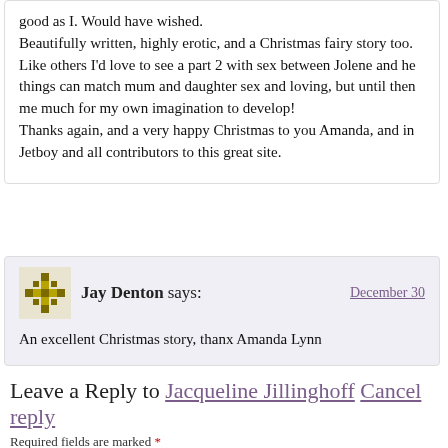good as I. Would have wished.
Beautifully written, highly erotic, and a Christmas fairy story too.
Like others I'd love to see a part 2 with sex between Jolene and her... things can match mum and daughter sex and loving, but until then... me much for my own imagination to develop!
Thanks again, and a very happy Christmas to you Amanda, and in... Jetboy and all contributors to this great site.
Jay Denton says:
December 30
An excellent Christmas story, thanx Amanda Lynn
Leave a Reply to Jacqueline Jillinghoff Cancel reply
Required fields are marked *
Your details will be stored in a non-tracking cookie but your email address wil...
Comment